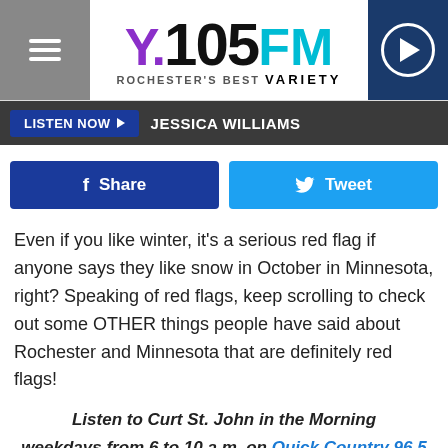[Figure (logo): Y.105FM Rochester's Best VARIETY radio station logo with hamburger menu and play button]
LISTEN NOW ▶  JESSICA WILLIAMS
Share   Tweet
Even if you like winter, it's a serious red flag if anyone says they like snow in October in Minnesota, right? Speaking of red flags, keep scrolling to check out some OTHER things people have said about Rochester and Minnesota that are definitely red flags!
Listen to Curt St. John in the Morning weekdays from 6 to 10 a.m. on Quick Country 96.5
10 RED FLAG THINGS PEOPLE SAY ABOUT